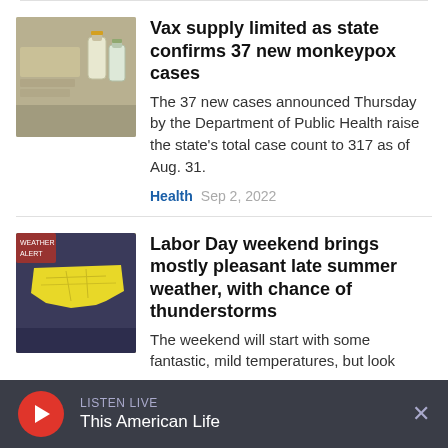[Figure (photo): Thumbnail photo of vaccine vials and packaging on a surface]
Vax supply limited as state confirms 37 new monkeypox cases
The 37 new cases announced Thursday by the Department of Public Health raise the state's total case count to 317 as of Aug. 31.
Health  Sep 2, 2022
[Figure (photo): Thumbnail of a yellow weather map showing Connecticut region with storm indicators]
Labor Day weekend brings mostly pleasant late summer weather, with chance of thunderstorms
The weekend will start with some fantastic, mild temperatures, but look
LISTEN LIVE  This American Life